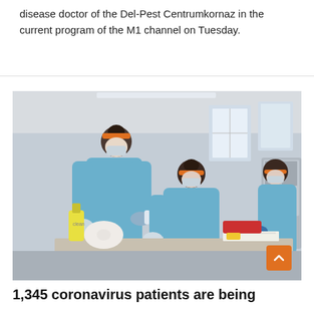disease doctor of the Del-Pest Centrumkornaz in the current program of the M1 channel on Tuesday.
[Figure (photo): Medical workers in blue PPE gowns, face shields with orange headbands, and masks at a clinical testing or sampling station. One worker stands administering a test while another is seated. A third worker in the background wears similar protective equipment. Medical supplies, bottles, and paperwork are visible on the table.]
1,345 coronavirus patients are being